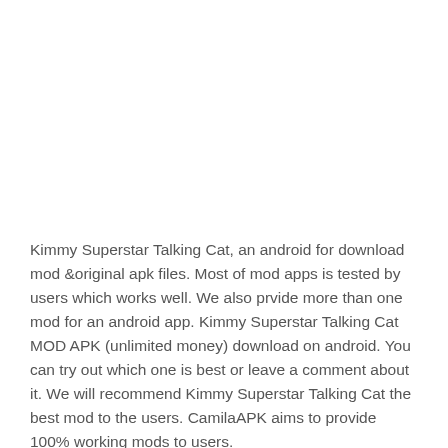Kimmy Superstar Talking Cat, an android for download mod &original apk files. Most of mod apps is tested by users which works well. We also prvide more than one mod for an android app. Kimmy Superstar Talking Cat MOD APK (unlimited money) download on android. You can try out which one is best or leave a comment about it. We will recommend Kimmy Superstar Talking Cat the best mod to the users. CamilaAPK aims to provide 100% working mods to users.